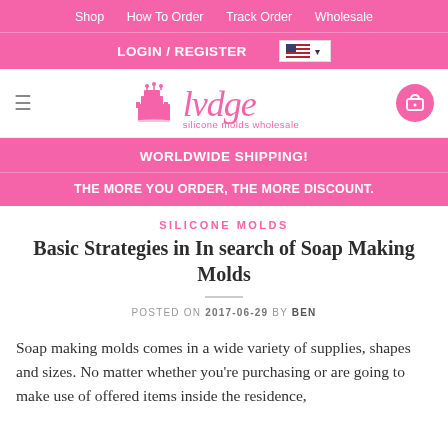Shop  How To Order  Track Order  Wholesale
LOGIN / REGISTER
[Figure (logo): lvdge silicone molds wholesale logo with cake/castle icon]
WORLDWIDE SHIPPING!
THE MORE YOU ORDER, THE MORE DISCOUNT.
SILICONE MOLDS
Basic Strategies in In search of Soap Making Molds
POSTED ON 2017-06-29 BY BEN
Soap making molds comes in a wide variety of supplies, shapes and sizes. No matter whether you're purchasing or are going to make use of offered items inside the residence,